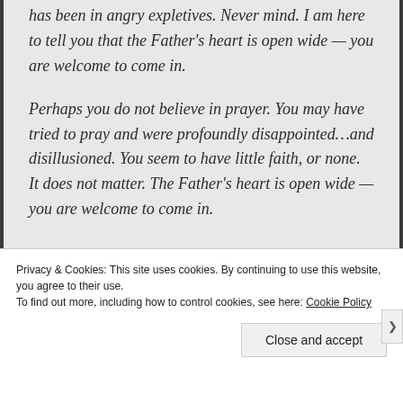has been in angry expletives. Never mind. I am here to tell you that the Father's heart is open wide — you are welcome to come in.
Perhaps you do not believe in prayer. You may have tried to pray and were profoundly disappointed…and disillusioned. You seem to have little faith, or none. It does not matter. The Father's heart is open wide — you are welcome to come in.
Privacy & Cookies: This site uses cookies. By continuing to use this website, you agree to their use.
To find out more, including how to control cookies, see here: Cookie Policy
Close and accept